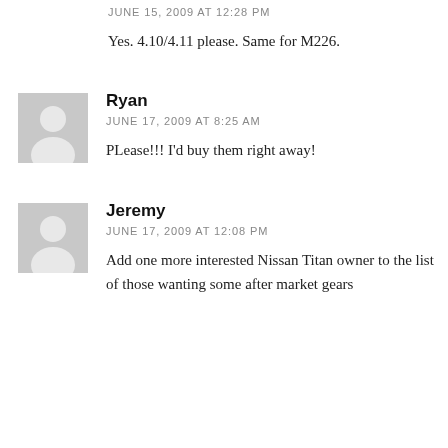JUNE 15, 2009 AT 12:28 PM
Yes. 4.10/4.11 please. Same for M226.
Ryan
JUNE 17, 2009 AT 8:25 AM
PLease!!! I'd buy them right away!
Jeremy
JUNE 17, 2009 AT 12:08 PM
Add one more interested Nissan Titan owner to the list of those wanting some after market gears